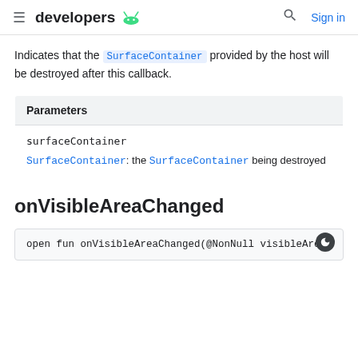developers
Indicates that the SurfaceContainer provided by the host will be destroyed after this callback.
| Parameters |
| --- |
| surfaceContainer |
| SurfaceContainer: the SurfaceContainer being destroyed |
onVisibleAreaChanged
open fun onVisibleAreaChanged(@NonNull visibleArea: